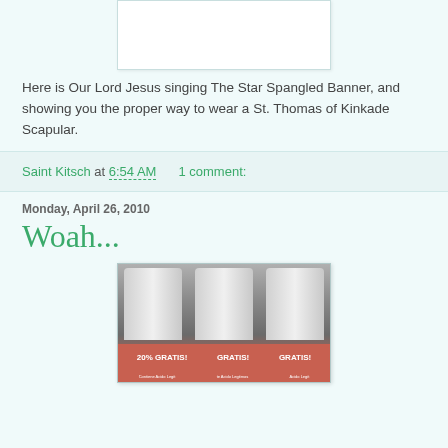[Figure (photo): White rectangular image placeholder with light border at top of page]
Here is Our Lord Jesus singing The Star Spangled Banner, and showing you the proper way to wear a St. Thomas of Kinkade Scapular.
Saint Kitsch at 6:54 AM   1 comment:
Monday, April 26, 2010
Woah...
[Figure (photo): Photo of three cylindrical deodorant/spray cans with red bands labeled '20% GRATIS!' and 'GRATIS!']